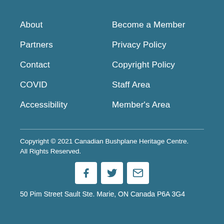About
Become a Member
Partners
Privacy Policy
Contact
Copyright Policy
COVID
Staff Area
Accessibility
Member's Area
Copyright © 2021 Canadian Bushplane Heritage Centre. All Rights Reserved.
[Figure (infographic): Social media icons: Facebook, Twitter, Email]
50 Pim Street Sault Ste. Marie, ON Canada P6A 3G4